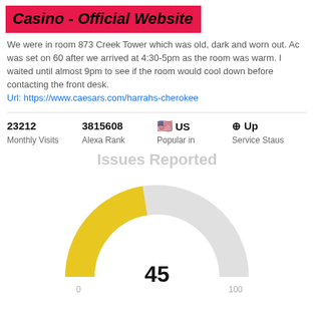Casino - Official Website
We were in room 873 Creek Tower which was old, dark and worn out. Ac was set on 60 after we arrived at 4:30-5pm as the room was warm. I waited until almost 9pm to see if the room would cool down before contacting the front desk.
Url: https://www.caesars.com/harrahs-cherokee
|  |  |  |  |
| --- | --- | --- | --- |
| 23212 | 3815608 | 🇺🇸 US | ⊕ Up |
| Monthly Visits | Alexa Rank | Popular in | Service Staus |
Issues Reported
[Figure (donut-chart): Gauge/speedometer chart showing value 45 out of 100, with yellow arc from 0 to ~45% and grey arc for remainder]